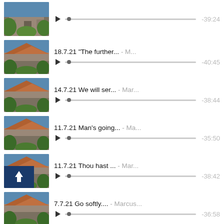-39:24
18.7.21 "The further..." - M... -40:45
14.7.21 We will ser... - Mar... -38:44
11.7.21 Man's going... - Ma... -35:50
11.7.21 Thou hast ... - Mar... -38:42
7.7.21 Go softly.... - Marcus... -36:58